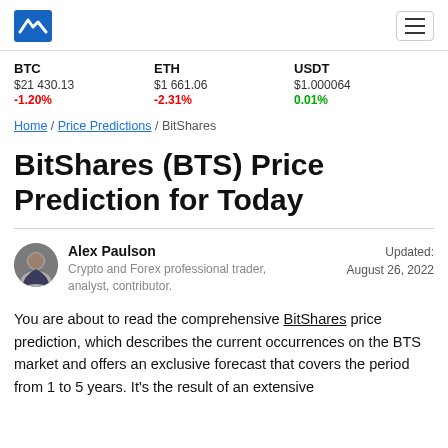Logo and navigation header
BTC $21 430.13 -1.20% | ETH $1 661.06 -2.31% | USDT $1.000064 0.01%
Home / Price Predictions / BitShares
BitShares (BTS) Price Prediction for Today
Alex Paulson
Crypto and Forex professional trader, analyst, contributor.
Updated: August 26, 2022
You are about to read the comprehensive BitShares price prediction, which describes the current occurrences on the BTS market and offers an exclusive forecast that covers the period from 1 to 5 years. It's the result of an extensive